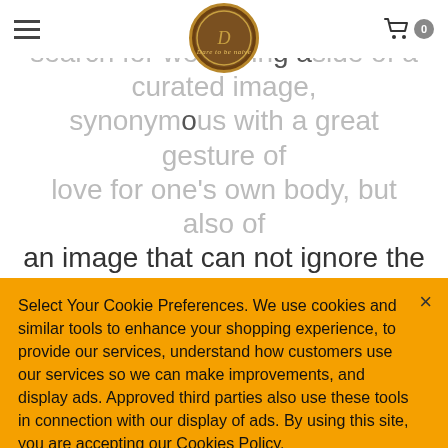Dare to be naive
moving towards a personal search for well-being aside of a curated image, synonymous with a great gesture of love for one's own body, but also of an image that can not ignore the care of the state of mental and social well-being.
[Figure (photo): Partial view of a photo strip showing colorful/natural imagery]
Select Your Cookie Preferences. We use cookies and similar tools to enhance your shopping experience, to provide our services, understand how customers use our services so we can make improvements, and display ads. Approved third parties also use these tools in connection with our display of ads. By using this site, you are accepting our Cookies Policy.
Cookie Preferences
Accept & Continue